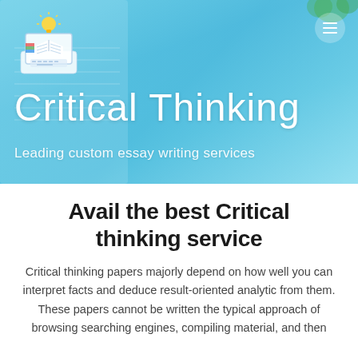[Figure (photo): Hero banner with blue-tinted background showing hands writing in a notebook on a desk, with a cyan/teal color overlay]
[Figure (logo): Logo showing a laptop with an open book and a lightbulb on top]
Critical Thinking
Leading custom essay writing services
Avail the best Critical thinking service
Critical thinking papers majorly depend on how well you can interpret facts and deduce result-oriented analytic from them. These papers cannot be written the typical approach of browsing searching engines, compiling material, and then